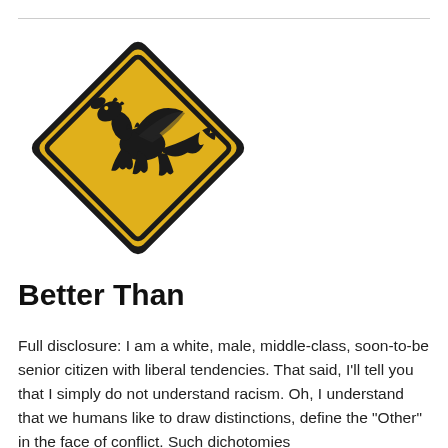[Figure (illustration): A diamond-shaped yellow caution road sign with a black Welsh dragon silhouette on it, textured with an aged/grunge appearance.]
Better Than
Full disclosure: I am a white, male, middle-class, soon-to-be senior citizen with liberal tendencies. That said, I'll tell you that I simply do not understand racism. Oh, I understand that we humans like to draw distinctions, define the "Other" in the face of conflict. Such dichotomies